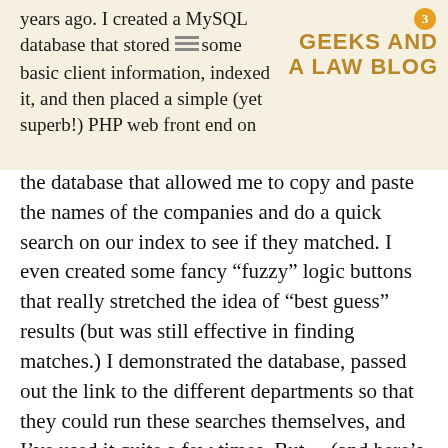3 GEEKS AND A LAW BLOG
years ago. I created a MySQL database that stored some basic client information, indexed it, and then placed a simple (yet superb!) PHP web front end on the database that allowed me to copy and paste the names of the companies and do a quick search on our index to see if they matched. I even created some fancy “fuzzy” logic buttons that really stretched the idea of “best guess” results (but was still effective in finding matches.) I demonstrated the database, passed out the link to the different departments so that they could run these searches themselves, and I’ve used it quite a few times. But… (and here’s the morale of this story) I never really followed up with anyone, or did any additional training on the product after that initial introduction. I just assumed people were still using it and it was such a great product that